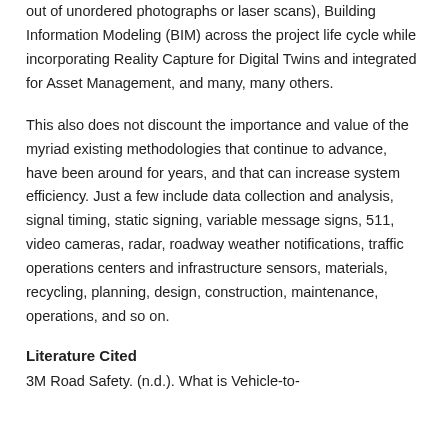out of unordered photographs or laser scans), Building Information Modeling (BIM) across the project life cycle while incorporating Reality Capture for Digital Twins and integrated for Asset Management, and many, many others.
This also does not discount the importance and value of the myriad existing methodologies that continue to advance, have been around for years, and that can increase system efficiency. Just a few include data collection and analysis, signal timing, static signing, variable message signs, 511, video cameras, radar, roadway weather notifications, traffic operations centers and infrastructure sensors, materials, recycling, planning, design, construction, maintenance, operations, and so on.
Literature Cited
3M Road Safety. (n.d.). What is Vehicle-to-